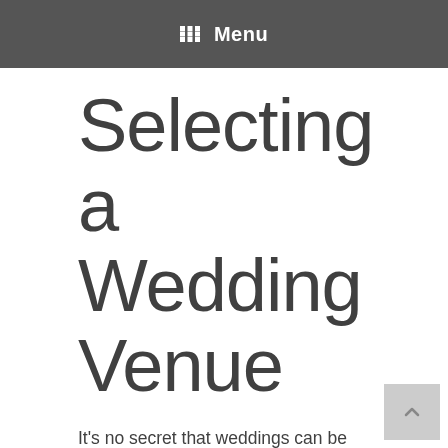Menu
Selecting a Wedding Venue
It's no secret that weddings can be costly. The place you book for your ceremony and reception will probably cost you the most. So,